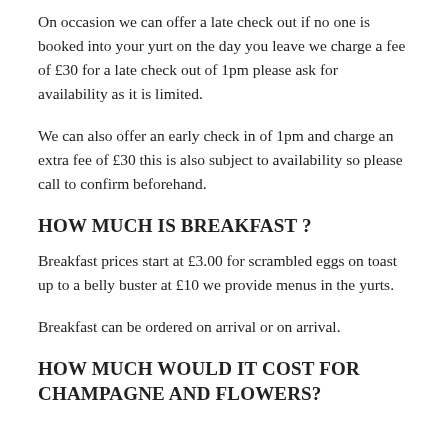On occasion we can offer a late check out if no one is booked into your yurt on the day you leave we charge a fee of £30 for a late check out of 1pm please ask for availability as it is limited.
We can also offer an early check in of 1pm and charge an extra fee of £30 this is also subject to availability so please call to confirm beforehand.
HOW MUCH IS BREAKFAST ?
Breakfast prices start at £3.00 for scrambled eggs on toast up to a belly buster at £10 we provide menus in the yurts.
Breakfast can be ordered on arrival or on arrival.
HOW MUCH WOULD IT COST FOR CHAMPAGNE AND FLOWERS?